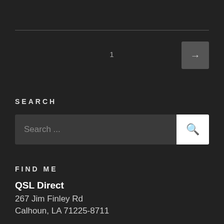1
SEARCH
Search ...
FIND ME
QSL Direct
267 Jim Finley Rd
Calhoun, LA 71225-8711